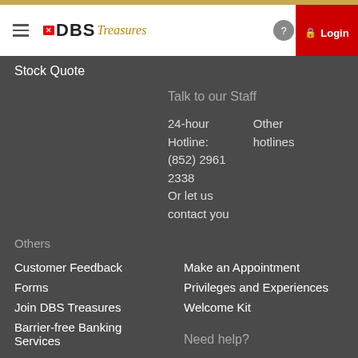[Figure (screenshot): DBS Treasures bank website navigation header with hamburger menu, DBS Treasures logo, help button, and red Login button]
Stock Quote
Talk to our Staff
24-hour Hotline: (852) 2961 2338
Other hotlines
Or let us contact you
Others
Customer Feedback
Forms
Join DBS Treasures
Barrier-free Banking Services
Make an Appointment
Privileges and Experiences
Welcome Kit
Need help?